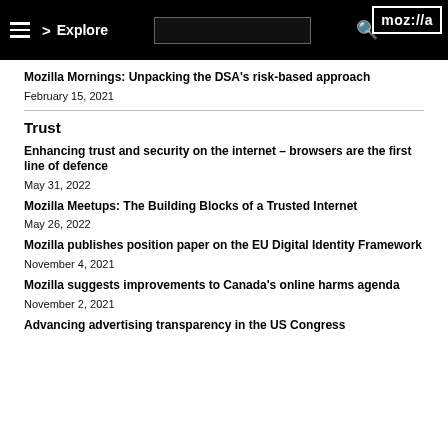moz://a | Explore | Search
Mozilla Mornings: Unpacking the DSA’s risk-based approach
February 15, 2021
Trust
Enhancing trust and security on the internet – browsers are the first line of defence
May 31, 2022
Mozilla Meetups: The Building Blocks of a Trusted Internet
May 26, 2022
Mozilla publishes position paper on the EU Digital Identity Framework
November 4, 2021
Mozilla suggests improvements to Canada’s online harms agenda
November 2, 2021
Advancing advertising transparency in the US Congress